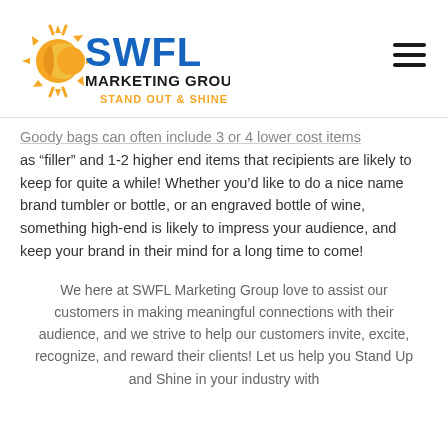[Figure (logo): SWFL Marketing Group logo with sun icon, blue SWFL text, dark MARKETING GROUP text, and orange STAND OUT & SHINE tagline]
Goody bags can often include 3 or 4 lower cost items as “filler” and 1-2 higher end items that recipients are likely to keep for quite a while! Whether you’d like to do a nice name brand tumbler or bottle, or an engraved bottle of wine, something high-end is likely to impress your audience, and keep your brand in their mind for a long time to come!
We here at SWFL Marketing Group love to assist our customers in making meaningful connections with their audience, and we strive to help our customers invite, excite, recognize, and reward their clients! Let us help you Stand Up and Shine in your industry with